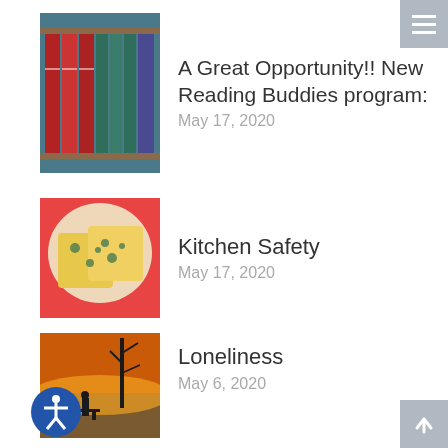[Figure (photo): Stack of books with red and teal spines on a shelf]
A Great Opportunity!! New Reading Buddies program:
May 17, 2020
[Figure (photo): Sliced bread cake pieces in a clear plastic container with a red background]
Kitchen Safety
May 17, 2020
[Figure (photo): Silhouette of person standing near a bench at sunset with a bare tree]
Loneliness
May 6, 2020
[Figure (photo): Bathroom with white walls, shower curtain, toilet, and safety features visible]
Bathroom Safety for Seniors
April 17, 2020